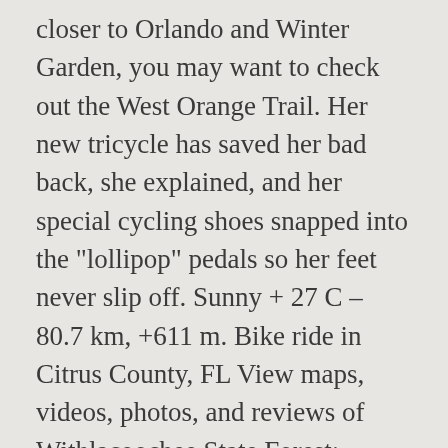closer to Orlando and Winter Garden, you may want to check out the West Orange Trail. Her new tricycle has saved her bad back, she explained, and her special cycling shoes snapped into the "lollipop" pedals so her feet never slip off. Sunny + 27 C – 80.7 km, +611 m. Bike ride in Citrus County, FL View maps, videos, photos, and reviews of Withlacoochee State Forest: Croom Section bike trail in â¦ In 1987, CSX Transportation decided to abandon the 47-mile railroad which the state of Florida then purchased for their "rails-to-trails" program in 1989. We visited during spring break (late March) and the weather was perfect for a bike ride. The surface is asphalt paved and the trail winds through or near several small towns